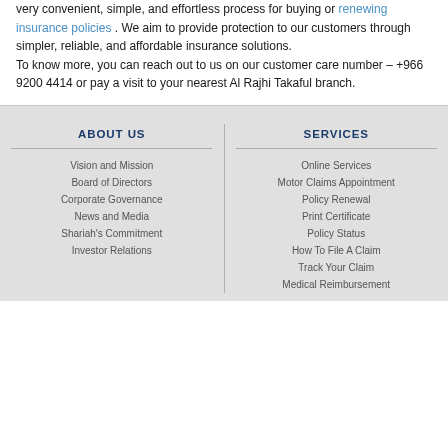very convenient, simple, and effortless process for buying or renewing insurance policies . We aim to provide protection to our customers through simpler, reliable, and affordable insurance solutions.
To know more, you can reach out to us on our customer care number – +966 9200 4414 or pay a visit to your nearest Al Rajhi Takaful branch.
ABOUT US
SERVICES
Vision and Mission
Board of Directors
Corporate Governance
News and Media
Shariah's Commitment
Investor Relations
Online Services
Motor Claims Appointment
Policy Renewal
Print Certificate
Policy Status
How To File A Claim
Track Your Claim
Medical Reimbursement